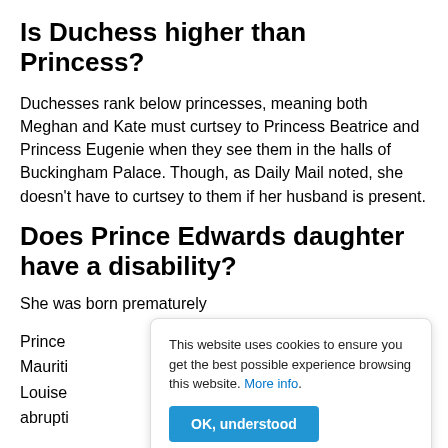Is Duchess higher than Princess?
Duchesses rank below princesses, meaning both Meghan and Kate must curtsey to Princess Beatrice and Princess Eugenie when they see them in the halls of Buckingham Palace. Though, as Daily Mail noted, she doesn't have to curtsey to them if her husband is present.
Does Prince Edwards daughter have a disability?
She was born prematurely
Prince
Mauriti
Louise
abrupti
This website uses cookies to ensure you get the best possible experience browsing this website. More info.
OK, understood